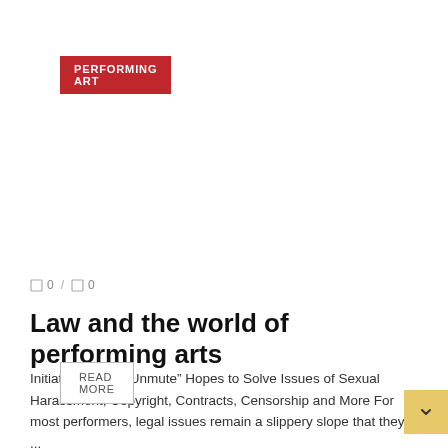PERFORMING ART
□ 0 / □ 0
Law and the world of performing arts
Initiative Called “Unmute” Hopes to Solve Issues of Sexual Harassment, Copyright, Contracts, Censorship and More For most performers, legal issues remain a slippery slope that they ...
READ MORE